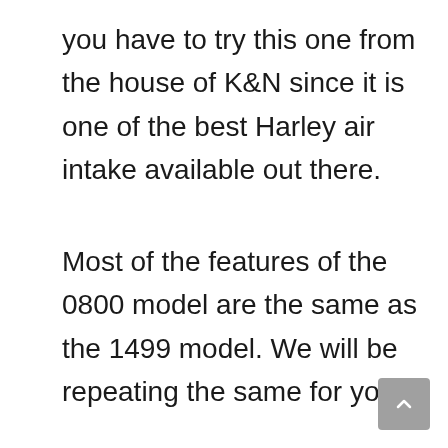you have to try this one from the house of K&N since it is one of the best Harley air intake available out there.
Most of the features of the 0800 model are the same as the 1499 model. We will be repeating the same for you.